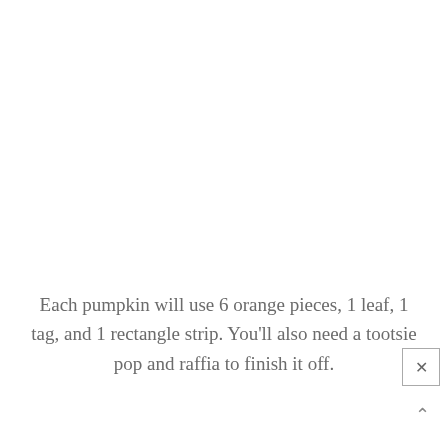Each pumpkin will use 6 orange pieces, 1 leaf, 1 tag, and 1 rectangle strip. You'll also need a tootsie pop and raffia to finish it off.